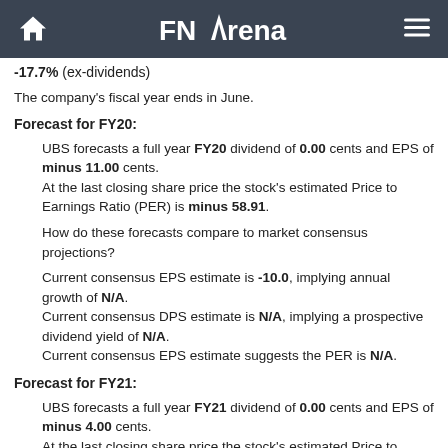FNArena
-17.7% (ex-dividends)
The company's fiscal year ends in June.
Forecast for FY20:
UBS forecasts a full year FY20 dividend of 0.00 cents and EPS of minus 11.00 cents.
At the last closing share price the stock's estimated Price to Earnings Ratio (PER) is minus 58.91.
How do these forecasts compare to market consensus projections?
Current consensus EPS estimate is -10.0, implying annual growth of N/A.
Current consensus DPS estimate is N/A, implying a prospective dividend yield of N/A.
Current consensus EPS estimate suggests the PER is N/A.
Forecast for FY21:
UBS forecasts a full year FY21 dividend of 0.00 cents and EPS of minus 4.00 cents.
At the last closing share price the stock's estimated Price to Earnings Ratio (PER) is minus 162.00.